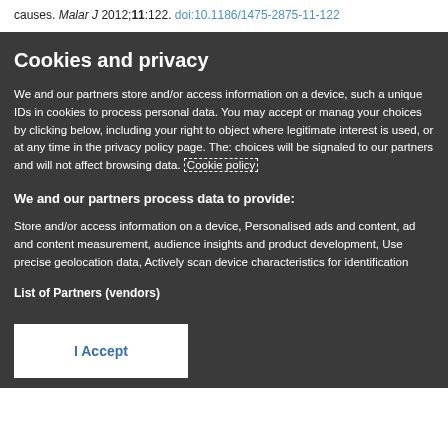causes. Malar J 2012;11:122. doi:10.1186/1475-2875-11-122
Cookies and privacy
We and our partners store and/or access information on a device, such as unique IDs in cookies to process personal data. You may accept or manage your choices by clicking below, including your right to object where legitimate interest is used, or at any time in the privacy policy page. These choices will be signaled to our partners and will not affect browsing data. Cookie policy
We and our partners process data to provide:
Store and/or access information on a device, Personalised ads and content, ad and content measurement, audience insights and product development, Use precise geolocation data, Actively scan device characteristics for identification
List of Partners (vendors)
I Accept